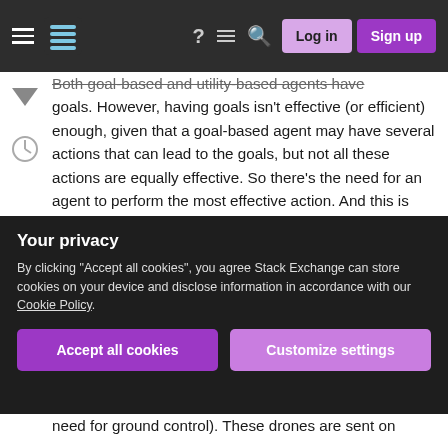Stack Exchange navigation bar with Log in and Sign up buttons
Both goal-based and utility-based agents have goals. However, having goals isn't effective (or efficient) enough, given that a goal-based agent may have several actions that can lead to the goals, but not all these actions are equally effective. So there's the need for an agent to perform the most effective action. And this is done by a utility-based agent.
That said, for an agent that exhibits the utility function, it maps each state after each action being taken nor performed efficiently and effectively.
Your privacy
By clicking "Accept all cookies", you agree Stack Exchange can store cookies on your device and disclose information in accordance with our Cookie Policy.
need for ground control). These drones are sent on